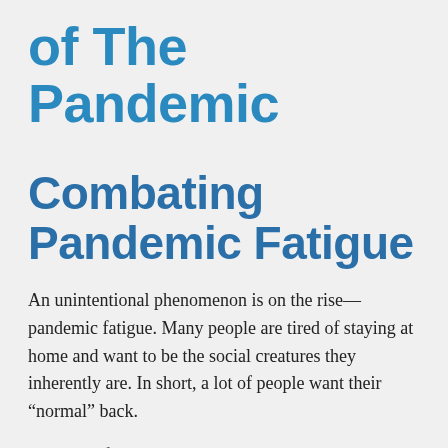of The Pandemic
Combating Pandemic Fatigue
An unintentional phenomenon is on the rise—pandemic fatigue. Many people are tired of staying at home and want to be the social creatures they inherently are. In short, a lot of people want their “normal” back.
Pandemic fatigue occurs when people show low